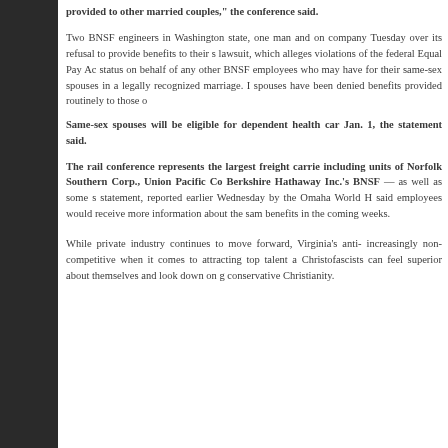provided to other married couples," the conference said.
Two BNSF engineers in Washington state, one man and one woman, sued the company Tuesday over its refusal to provide benefits to their same-sex spouses. The lawsuit, which alleges violations of the federal Equal Pay Act, seeks class-action status on behalf of any other BNSF employees who may have been denied benefits for their same-sex spouses in a legally recognized marriage. It says the couples' spouses have been denied benefits provided routinely to those of opposite-sex married couples.
Same-sex spouses will be eligible for dependent health care coverage as of Jan. 1, the statement said.
The rail conference represents the largest freight carriers in the country, including units of Norfolk Southern Corp., Union Pacific Corp. and Berkshire Hathaway Inc.'s BNSF — as well as some smaller railroads. The statement, reported earlier Wednesday by the Omaha World Herald, also said employees would receive more information about the same-sex spouse benefits in the coming weeks.
While private industry continues to move forward, Virginia's anti-gay laws are increasingly non-competitive when it comes to attracting top talent and investment so Christofascists can feel superior about themselves and look down on gay people. Welcome to conservative Christianity.